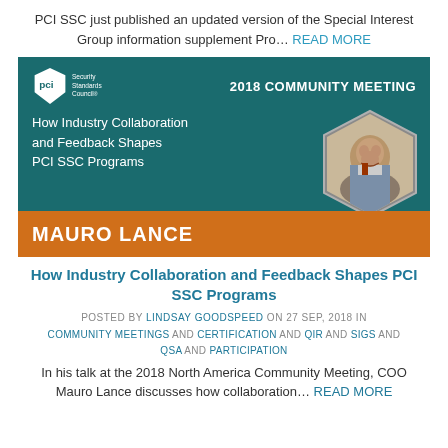PCI SSC just published an updated version of the Special Interest Group information supplement Pro… READ MORE
[Figure (illustration): Banner image for 2018 PCI SSC Community Meeting featuring PCI Security Standards Council logo, title '2018 COMMUNITY MEETING', session title 'How Industry Collaboration and Feedback Shapes PCI SSC Programs', hexagonal portrait photo of Mauro Lance, and orange bar with the name MAURO LANCE.]
How Industry Collaboration and Feedback Shapes PCI SSC Programs
POSTED BY LINDSAY GOODSPEED ON 27 SEP, 2018 IN
COMMUNITY MEETINGS AND CERTIFICATION AND QIR AND SIGS AND QSA AND PARTICIPATION
In his talk at the 2018 North America Community Meeting, COO Mauro Lance discusses how collaboration… READ MORE